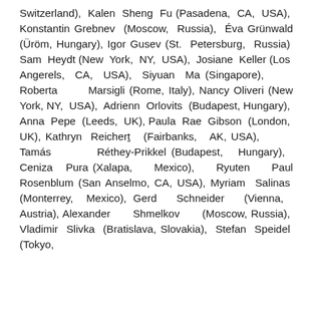Switzerland), Kalen Sheng Fu (Pasadena, CA, USA), Konstantin Grebnev (Moscow, Russia), Éva Grünwald (Üröm, Hungary), Igor Gusev (St. Petersburg, Russia) Sam Heydt (New York, NY, USA), Josiane Keller (Los Angerels, CA, USA), Siyuan Ma (Singapore), Roberta Marsigli (Rome, Italy), Nancy Oliveri (New York, NY, USA), Adrienn Orlovits (Budapest, Hungary), Anna Pepe (Leeds, UK), Paula Rae Gibson (London, UK), Kathryn Reichert (Fairbanks, AK, USA), Tamás Réthey-Prikkel (Budapest, Hungary), Ceniza Pura (Xalapa, Mexico), Ryuten Paul Rosenblum (San Anselmo, CA, USA), Myriam Salinas (Monterrey, Mexico), Gerd Schneider (Vienna, Austria), Alexander Shmelkov (Moscow, Russia), Vladimir Slivka (Bratislava, Slovakia), Stefan Speidel (Tokyo